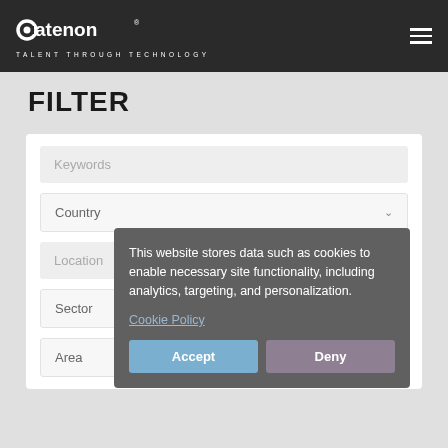catenon — TALENT THROUGH TECHNOLOGY
FILTER
Keywords
Country
Location
Sector
Area
This website stores data such as cookies to enable necessary site functionality, including analytics, targeting, and personalization.
Cookie Policy
Accept
Deny